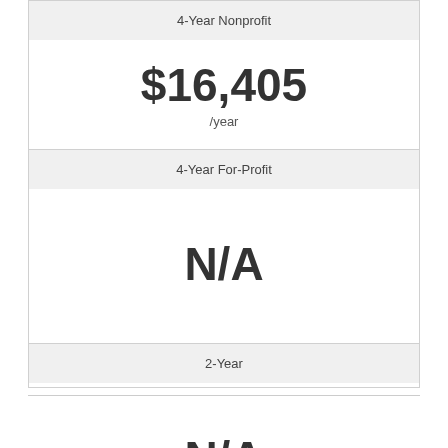4-Year Nonprofit
$16,405 /year
4-Year For-Profit
N/A
2-Year
N/A